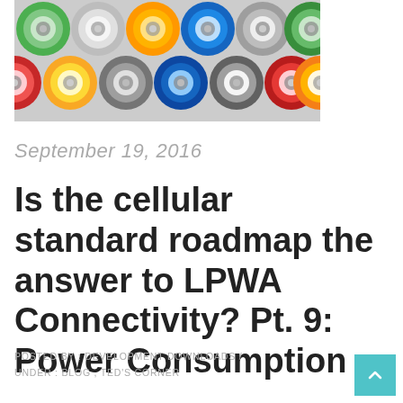[Figure (photo): Close-up top view of colorful batteries (AA/AAA cells) arranged side by side showing their positive terminals with concentric colored rings — green, blue, red, gold, silver, orange colors visible.]
September 19, 2016
Is the cellular standard roadmap the answer to LPWA Connectivity? Pt. 9: Power Consumption
POSTED BY : DEVELOPMENT DOWNLOADS / UNDER : BLOG , TED'S CORNER